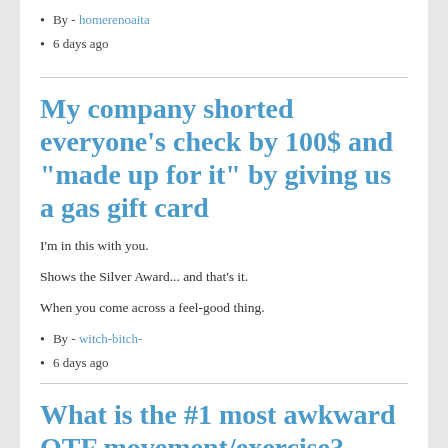By - homerenoaita
6 days ago
My company shorted everyone's check by 100$ and "made up for it" by giving us a gas gift card
I'm in this with you.
Shows the Silver Award... and that's it.
When you come across a feel-good thing.
By - witch-bitch-
6 days ago
What is the #1 most awkward OTF movement/exercise?